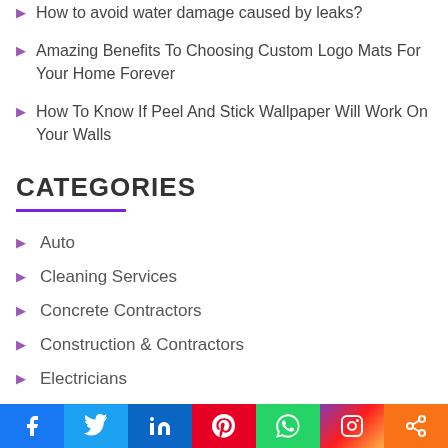How to avoid water damage caused by leaks?
Amazing Benefits To Choosing Custom Logo Mats For Your Home Forever
How To Know If Peel And Stick Wallpaper Will Work On Your Walls
CATEGORIES
Auto
Cleaning Services
Concrete Contractors
Construction & Contractors
Electricians